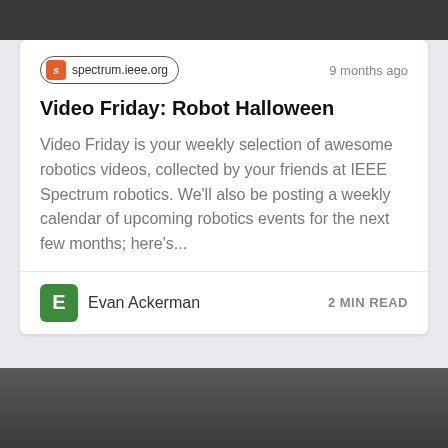[Figure (photo): Dark top image, partial view of robotics scene]
spectrum.ieee.org
9 months ago
Video Friday: Robot Halloween
Video Friday is your weekly selection of awesome robotics videos, collected by your friends at IEEE Spectrum robotics. We'll also be posting a weekly calendar of upcoming robotics events for the next few months; here's...
Evan Ackerman
2 MIN READ
[Figure (photo): Industrial robotics facility, robotic arm or equipment visible in a workshop with large windows]